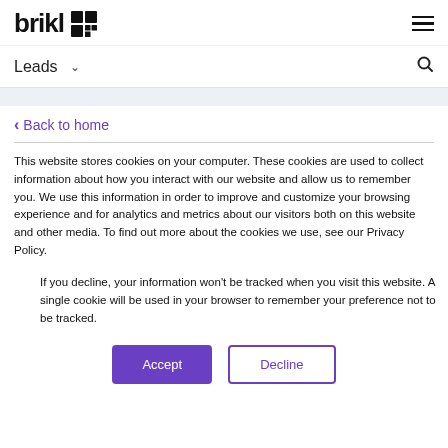brikl [logo] [hamburger menu]
Leads [dropdown] [search icon]
Back to home
This website stores cookies on your computer. These cookies are used to collect information about how you interact with our website and allow us to remember you. We use this information in order to improve and customize your browsing experience and for analytics and metrics about our visitors both on this website and other media. To find out more about the cookies we use, see our Privacy Policy.
If you decline, your information won't be tracked when you visit this website. A single cookie will be used in your browser to remember your preference not to be tracked.
Accept  Decline